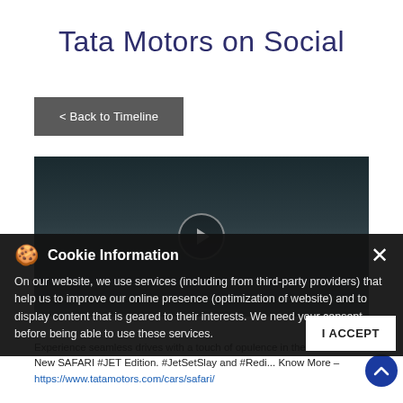Tata Motors on Social
< Back to Timeline
[Figure (screenshot): Dark video thumbnail with a play button circle in the center, showing a vehicle scene with dark gradient background.]
Cookie Information

On our website, we use services (including from third-party providers) that help us to improve our online presence (optimization of website) and to display content that is geared to their interests. We need your consent before being able to use these services.
Experience seamless drives with a touch of opulence in the All New SAFARI #JET Edition. #JetSetSlay and #Redi... Know More – https://www.tatamotors.com/cars/safari/